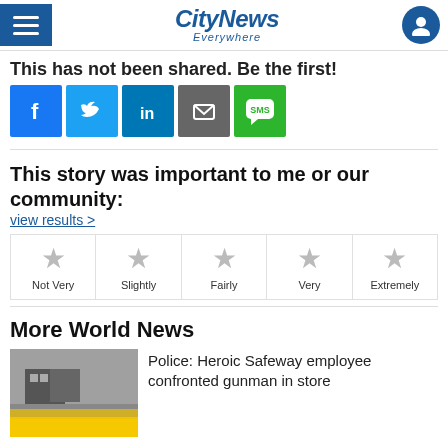CityNews Everywhere
This has not been shared. Be the first!
[Figure (other): Social sharing buttons: Facebook, Twitter, LinkedIn, Email, SMS]
This story was important to me or our community:
view results >
[Figure (other): Five star rating buttons labeled: Not Very, Slightly, Fairly, Very, Extremely]
More World News
Police: Heroic Safeway employee confronted gunman in store